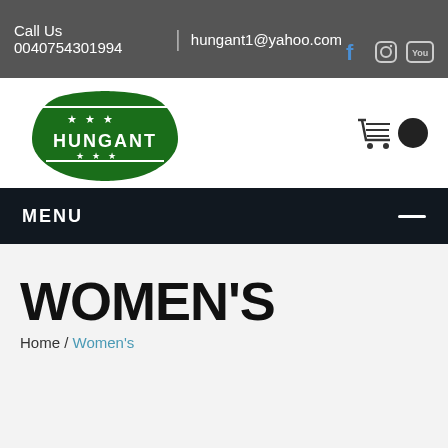Call Us 0040754301994 | hungant1@yahoo.com
[Figure (logo): Hungant brand logo with green shield emblem and stars]
MENU
WOMEN'S
Home / Women's